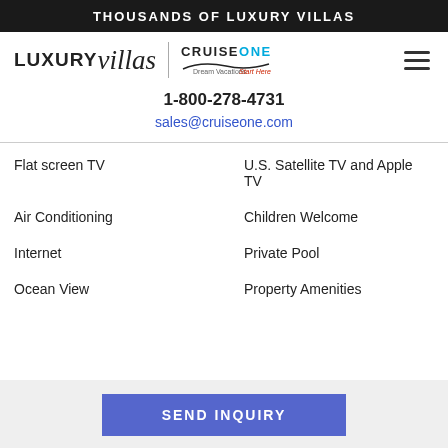THOUSANDS OF LUXURY VILLAS
[Figure (logo): Luxury Villas and CruiseOne Dream Vacations Start Here logos with hamburger menu icon]
1-800-278-4731
sales@cruiseone.com
Flat screen TV
U.S. Satellite TV and Apple TV
Air Conditioning
Children Welcome
Internet
Private Pool
Ocean View
Property Amenities
SEND INQUIRY